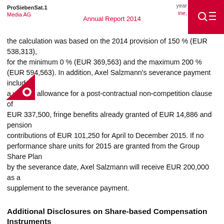ProSiebenSat.1 Media AG — Annual Report 2014
the calculation was based on the 2014 provision of 150 % (EUR 538,313), for the minimum 0 % (EUR 369,563) and the maximum 200 % (EUR 594,563). In addition, Axel Salzmann's severance payment includes a waiting allowance for a post-contractual non-competition clause of EUR 337,500, fringe benefits already granted of EUR 14,886 and pension contributions of EUR 101,250 for April to December 2015. If no performance share units for 2015 are granted from the Group Share Plan by the severance date, Axel Salzmann will receive EUR 200,000 as a supplement to the severance payment.
Additional Disclosures on Share-based Compensation Instruments
(Stock Option Plan and Group Share Plan)
The stock options and performance share units granted to and held by active members of the Executive Board for their activity as members of the Executive Board developed as follows in the 2014 financial year: